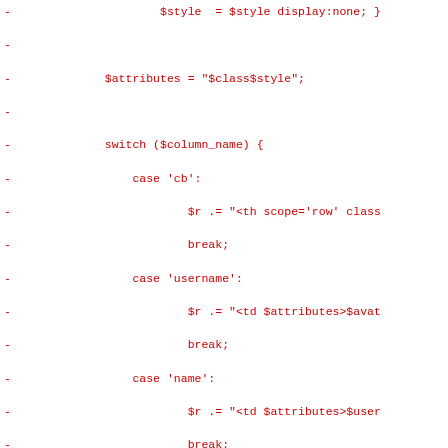Code diff showing PHP switch statement with cases for cb, username, name, email, role, posts, and default, all marked as deleted lines (prefixed with -)